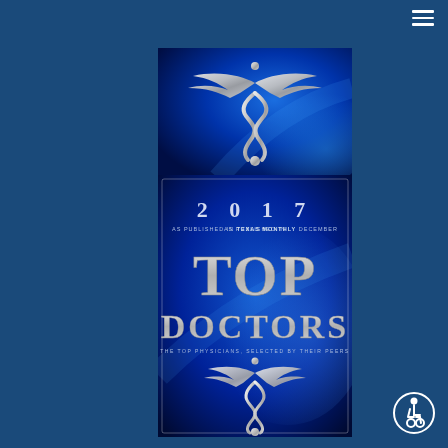[Figure (illustration): Silver caduceus medical symbol on blue gradient background]
[Figure (illustration): 2017 Top Doctors award badge as published in Texas Monthly December. Text reads: TOP DOCTORS - The top physicians, selected by their peers. Features caduceus symbol on blue background.]